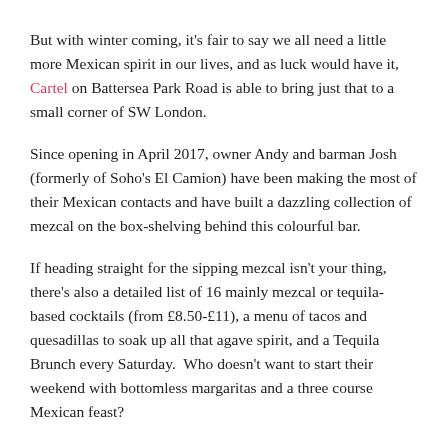But with winter coming, it's fair to say we all need a little more Mexican spirit in our lives, and as luck would have it, Cartel on Battersea Park Road is able to bring just that to a small corner of SW London.
Since opening in April 2017, owner Andy and barman Josh (formerly of Soho's El Camion) have been making the most of their Mexican contacts and have built a dazzling collection of mezcal on the box-shelving behind this colourful bar.
If heading straight for the sipping mezcal isn't your thing, there's also a detailed list of 16 mainly mezcal or tequila-based cocktails (from £8.50-£11), a menu of tacos and quesadillas to soak up all that agave spirit, and a Tequila Brunch every Saturday.  Who doesn't want to start their weekend with bottomless margaritas and a three course Mexican feast?
Finally, come mid-November, their authentically tin-roofed Mezcaleria will be home to around 100 different bottles of tequila's older more rustic relative.  So that's where you'll find us this winter.  After all, there's a 21-year-old Tepeztate we're dying to try. Never heard of it? You will soon.